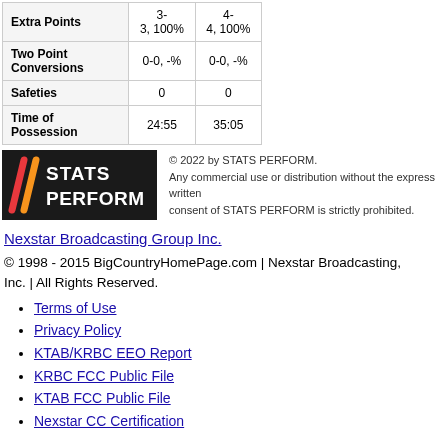|  | Col1 | Col2 |
| --- | --- | --- |
| Extra Points | 3-3, 100% | 4-4, 100% |
| Two Point Conversions | 0-0, -% | 0-0, -% |
| Safeties | 0 | 0 |
| Time of Possession | 24:55 | 35:05 |
[Figure (logo): STATS PERFORM logo with diagonal slashes on dark background]
© 2022 by STATS PERFORM. Any commercial use or distribution without the express written consent of STATS PERFORM is strictly prohibited.
Nexstar Broadcasting Group Inc.
© 1998 - 2015 BigCountryHomePage.com | Nexstar Broadcasting, Inc. | All Rights Reserved.
Terms of Use
Privacy Policy
KTAB/KRBC EEO Report
KRBC FCC Public File
KTAB FCC Public File
Nexstar CC Certification